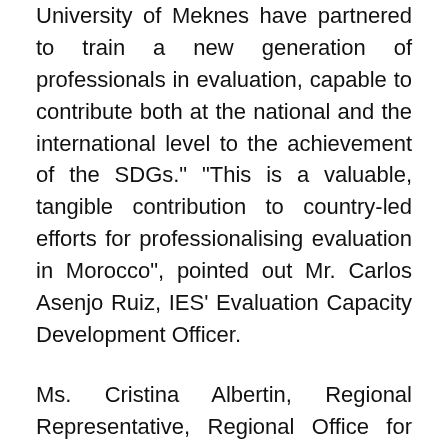University of Meknes have partnered to train a new generation of professionals in evaluation, capable to contribute both at the national and the international level to the achievement of the SDGs." "This is a valuable, tangible contribution to country-led efforts for professionalising evaluation in Morocco", pointed out Mr. Carlos Asenjo Ruiz, IES' Evaluation Capacity Development Officer.
Ms. Cristina Albertin, Regional Representative, Regional Office for Middle East and North Africa, UNODC, highlighted the importance "that the UN looks for new partnerships, so that we not only work with ministries and governments but that we involve other stakeholders. In this case, the partnership with research institutions allows us to better address the evidence gap. We look forward to the results of this